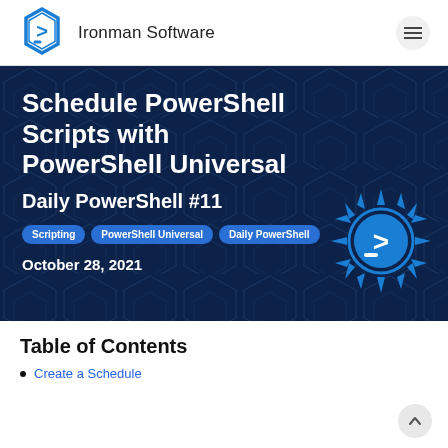Ironman Software
Schedule PowerShell Scripts with PowerShell Universal
Daily PowerShell #11
Scripting  PowerShell Universal  Daily PowerShell
October 28, 2021
Table of Contents
Create a Schedule